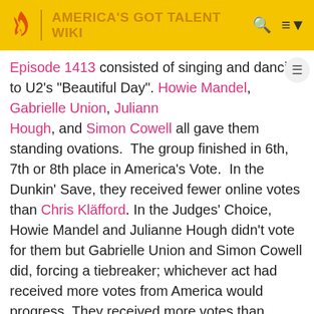AMERICA'S GOT TALENT WIKI
Episode 1413 consisted of singing and dancing to U2's "Beautiful Day". Howie Mandel, Gabrielle Union, Julianne Hough, and Simon Cowell all gave them standing ovations.  The group finished in 6th, 7th or 8th place in America's Vote.  In the Dunkin' Save, they received fewer online votes than Chris Kläfford. In the Judges' Choice, Howie Mandel and Julianne Hough didn't vote for them but Gabrielle Union and Simon Cowell did, forcing a tiebreaker; whichever act had received more votes from America would progress. They received more votes than Charlotte Summers, advancing to the Semifinals in Episode 1414.
[Figure (screenshot): Thumbnail image labeled QUARTER FINALS with colorful purple and pink abstract background]